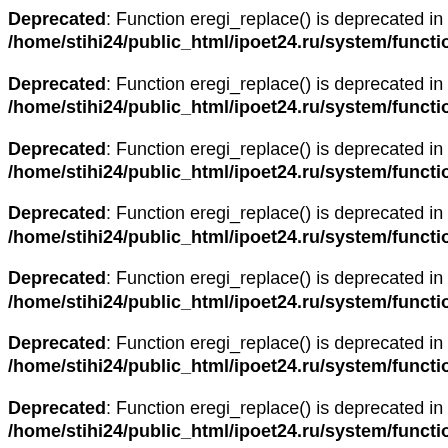Deprecated: Function eregi_replace() is deprecated in /home/stihi24/public_html/ipoet24.ru/system/functions.php
Deprecated: Function eregi_replace() is deprecated in /home/stihi24/public_html/ipoet24.ru/system/functions.php
Deprecated: Function eregi_replace() is deprecated in /home/stihi24/public_html/ipoet24.ru/system/functions.php
Deprecated: Function eregi_replace() is deprecated in /home/stihi24/public_html/ipoet24.ru/system/functions.php
Deprecated: Function eregi_replace() is deprecated in /home/stihi24/public_html/ipoet24.ru/system/functions.php
Deprecated: Function eregi_replace() is deprecated in /home/stihi24/public_html/ipoet24.ru/system/functions.php
Deprecated: Function eregi_replace() is deprecated in /home/stihi24/public_html/ipoet24.ru/system/functions.php
Deprecated: Function eregi_replace() is deprecated in /home/stihi24/public_html/ipoet24.ru/system/functions.php
Deprecated: Function eregi_replace() is deprecated in